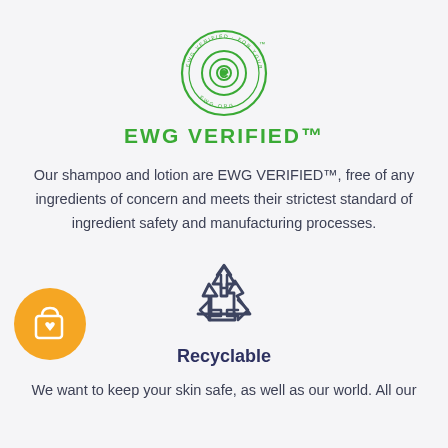[Figure (logo): EWG VERIFIED circular green logo with 'e' symbol in center and text 'EWG VERIFIED · FOR YOUR HEALTH · EWG.ORG' around the ring]
EWG VERIFIED™
Our shampoo and lotion are EWG VERIFIED™, free of any ingredients of concern and meets their strictest standard of ingredient safety and manufacturing processes.
[Figure (illustration): Recycling symbol (three arrows in triangle) in dark blue outline style]
[Figure (illustration): Orange circle with white shopping bag and heart icon]
Recyclable
We want to keep your skin safe, as well as our world. All our